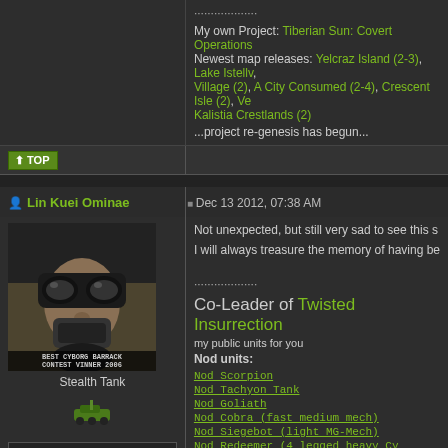My own Project: Tiberian Sun: Covert Operations
Newest map releases: Yelcraz Island (2-3), Lake Istellv, Village (2), A City Consumed (2-4), Crescent Isle (2), Ve, Kalistia Crestlands (2)
...project re-genesis has begun...
[Figure (screenshot): TOP navigation button with arrow icon]
Lin Kuei Ominae
Dec 13 2012, 07:38 AM
[Figure (photo): Avatar image of a cyborg/masked character. Caption reads BEST CYBORG BARRACK CONTEST VINNER 2006]
Stealth Tank
Group: Members
Posts: 1,065
Joined: 14-November 06
From: Germany
Not unexpected, but still very sad to see this s
I will always treasure the memory of having be
Co-Leader of Twisted Insurrection
my public units for you
Nod units:
Nod Scorpion
Nod Tachyon Tank
Nod Goliath
Nod Cobra (fast medium mech)
Nod Siegebot (light MG-Mech)
Nod Redeemer (4 legged heavy Cy
Nod/Scrin WotW Tripod
Misc and Fun units:
X-Mech Calendar 28 SHR Units